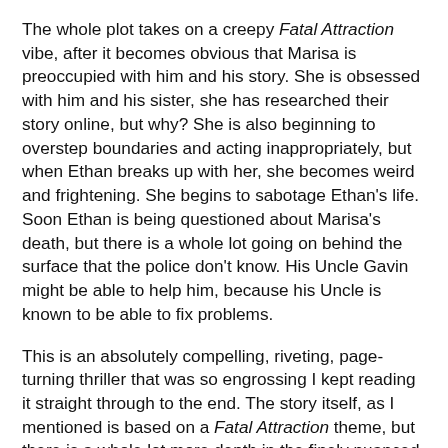The whole plot takes on a creepy Fatal Attraction vibe, after it becomes obvious that Marisa is preoccupied with him and his story. She is obsessed with him and his sister, she has researched their story online, but why? She is also beginning to overstep boundaries and acting inappropriately, but when Ethan breaks up with her, she becomes weird and frightening. She begins to sabotage Ethan's life. Soon Ethan is being questioned about Marisa's death, but there is a whole lot going on behind the surface that the police don't know. His Uncle Gavin might be able to help him, because his Uncle is known to be able to fix problems.
This is an absolutely compelling, riveting, page-turning thriller that was so engrossing I kept reading it straight through to the end. The story itself, as I mentioned is based on a Fatal Attraction theme, but there is a whole lot more depth in the finely nuanced plot. There is more than simply one narrative thread in the plot and the complexities and depth of the plot is engaging and entertaining. That and the quality of the writing places this thriller above the norm and is what kept me reading. Swann has crafted a well-written and intriguing novel in Never Turn Back.